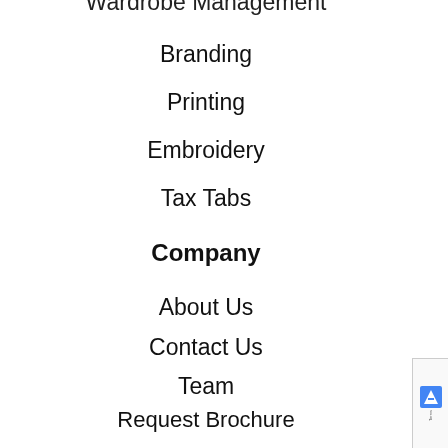Wardrobe Management
Branding
Printing
Embroidery
Tax Tabs
Company
About Us
Contact Us
Team
Request Brochure
Privacy Policy